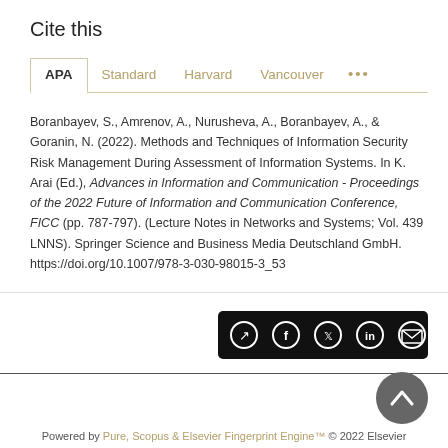Cite this
APA  Standard  Harvard  Vancouver  ...
Boranbayev, S., Amrenov, A., Nurusheva, A., Boranbayev, A., & Goranin, N. (2022). Methods and Techniques of Information Security Risk Management During Assessment of Information Systems. In K. Arai (Ed.), Advances in Information and Communication - Proceedings of the 2022 Future of Information and Communication Conference, FICC (pp. 787-797). (Lecture Notes in Networks and Systems; Vol. 439 LNNS). Springer Science and Business Media Deutschland GmbH. https://doi.org/10.1007/978-3-030-98015-3_53
[Figure (other): Social share bar with icons for share, Facebook, Twitter, LinkedIn, email on black background]
[Figure (other): Back to top button, grey circle with upward chevron]
Powered by Pure, Scopus & Elsevier Fingerprint Engine™ © 2022 Elsevier